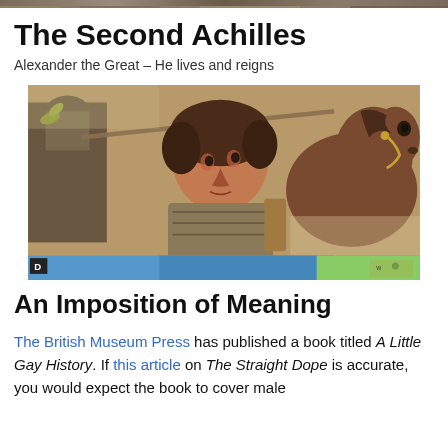[Figure (photo): Narrow strip of an ancient mosaic or artwork at the very top of the page, partially visible]
The Second Achilles
Alexander the Great – He lives and reigns
[Figure (photo): Ancient Roman mosaic depicting Alexander the Great in battle, showing a warrior with curly dark hair riding a horse, with detailed armor and dramatic expression. A map strip is visible at the bottom of the image area.]
An Imposition of Meaning
The British Museum Press has published a book titled A Little Gay History. If this article on The Straight Dope is accurate, you would expect the book to cover male